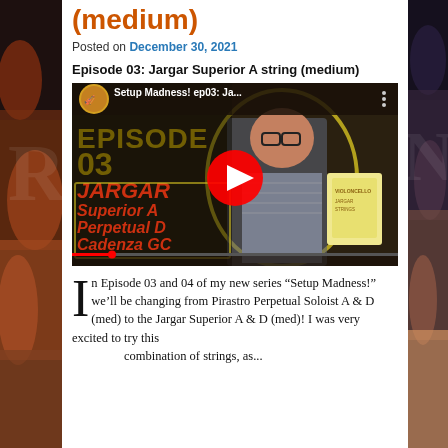(medium)
Posted on December 30, 2021
Episode 03: Jargar Superior A string (medium)
[Figure (screenshot): YouTube video thumbnail for 'Setup Madness! ep03: Ja...' showing a man holding a string package, with text overlay reading 'JARGAR Superior A Perpetual D Cadenza GC' and a red YouTube play button]
In Episode 03 and 04 of my new series "Setup Madness!" we'll be changing from Pirastro Perpetual Soloist A & D (med) to the Jargar Superior A & D (med)! I was very excited to try this